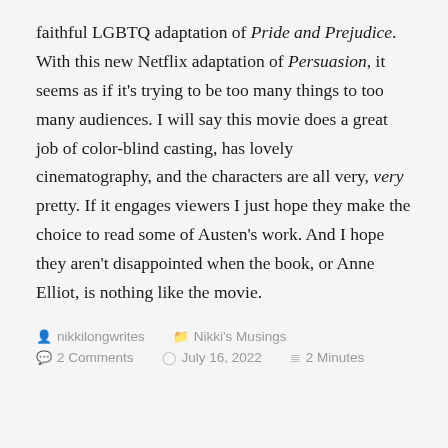faithful LGBTQ adaptation of Pride and Prejudice. With this new Netflix adaptation of Persuasion, it seems as if it's trying to be too many things to too many audiences. I will say this movie does a great job of color-blind casting, has lovely cinematography, and the characters are all very, very pretty. If it engages viewers I just hope they make the choice to read some of Austen's work. And I hope they aren't disappointed when the book, or Anne Elliot, is nothing like the movie.
nikkilongwrites   Nikki's Musings   2 Comments   July 16, 2022   2 Minutes